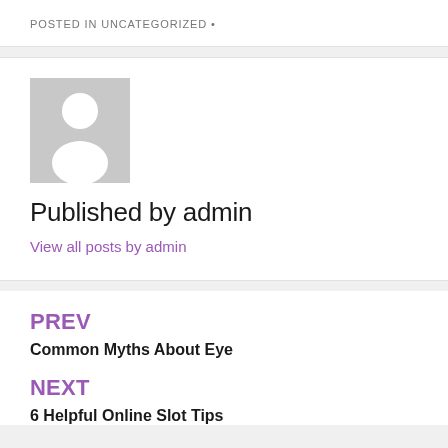POSTED IN UNCATEGORIZED •
[Figure (illustration): Default grey avatar placeholder with a silhouette of a person (head and shoulders) in white on grey background]
Published by admin
View all posts by admin
PREV
Common Myths About Eye
NEXT
6 Helpful Online Slot Tips